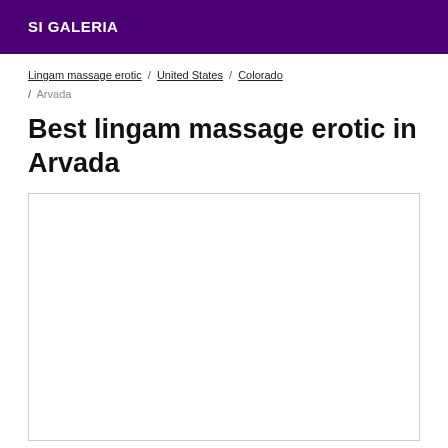SI GALERIA
Lingam massage erotic / United States / Colorado / Arvada
Best lingam massage erotic in Arvada
[Figure (other): Empty white content box with light gray border]